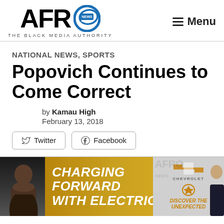AFRO NEWS — THE BLACK MEDIA AUTHORITY | Menu
NATIONAL NEWS, SPORTS
Popovich Continues to Come Correct
by Kamau High
February 13, 2018
[Figure (screenshot): Social share buttons: Twitter and Facebook]
[Figure (infographic): Chevrolet advertisement banner: 'CHARGING FORWARD WITH ELECTRIC!' with a person on the left, Chevrolet logo and 'DISCOVER THE UNEXPECTED' on the right, AFRO NEWS watermark]